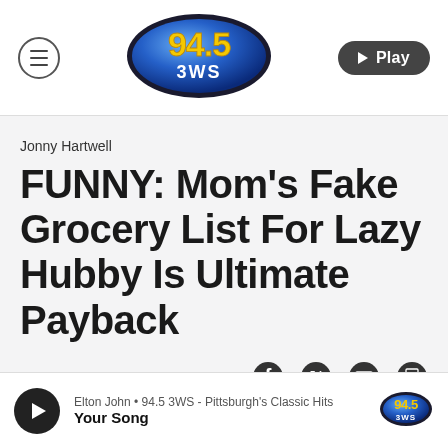[Figure (logo): 94.5 3WS radio station logo — blue oval with yellow/gold '94.5' text and white '3WS' text below]
Jonny Hartwell
FUNNY: Mom's Fake Grocery List For Lazy Hubby Is Ultimate Payback
Mar 26, 2019
Elton John • 94.5 3WS - Pittsburgh's Classic Hits
Your Song